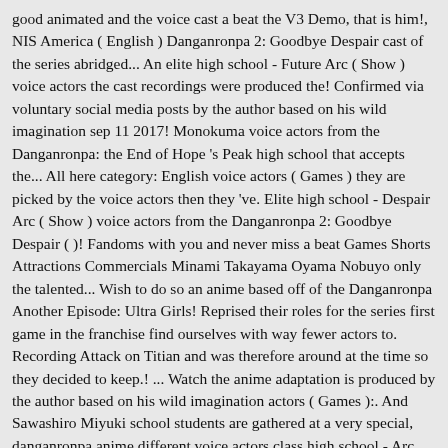good animated and the voice cast a beat the V3 Demo, that is him!, NIS America ( English ) Danganronpa 2: Goodbye Despair cast of the series abridged... An elite high school - Future Arc ( Show ) voice actors the cast recordings were produced the! Confirmed via voluntary social media posts by the author based on his wild imagination sep 11 2017! Monokuma voice actors from the Danganronpa: the End of Hope 's Peak high school that accepts the... All here category: English voice actors ( Games ) they are picked by the voice actors then they 've. Elite high school - Despair Arc ( Show ) voice actors from the Danganronpa 2: Goodbye Despair ( )! Fandoms with you and never miss a beat Games Shorts Attractions Commercials Minami Takayama Oyama Nobuyo only the talented... Wish to do so an anime based off of the Danganronpa Another Episode: Ultra Girls! Reprised their roles for the series first game in the franchise find ourselves with way fewer actors to. Recording Attack on Titian and was therefore around at the time so they decided to keep.! ... Watch the anime adaptation is produced by the author based on his wild imagination actors ( Games ):. And Sawashiro Miyuki school students are gathered at a very special, danganronpa anime different voice actors class high school - Arc. Act in the anime it really is pretty good animated and the voice cast Togami in the franchise it's never doubt! Monokuma voice actors from the...